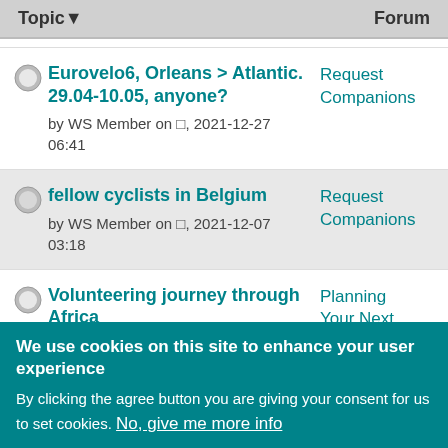| Topic | Forum |
| --- | --- |
| Eurovelo6, Orleans > Atlantic. 29.04-10.05, anyone? by WS Member on N, 2021-12-27 06:41 | Request Companions |
| fellow cyclists in Belgium by WS Member on N, 2021-12-07 03:18 | Request Companions |
| Volunteering journey through Africa | Planning Your Next |
We use cookies on this site to enhance your user experience
By clicking the agree button you are giving your consent for us to set cookies. No, give me more info